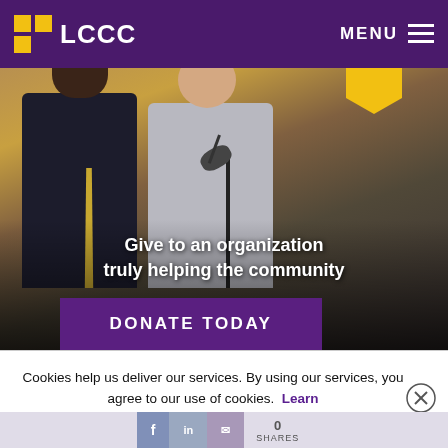LCCC | MENU
[Figure (photo): Two men standing at a microphone at an event. Text overlay reads: Give to an organization truly helping the community. DONATE TODAY button below.]
Cookies help us deliver our services. By using our services, you agree to our use of cookies. Learn more  Got it